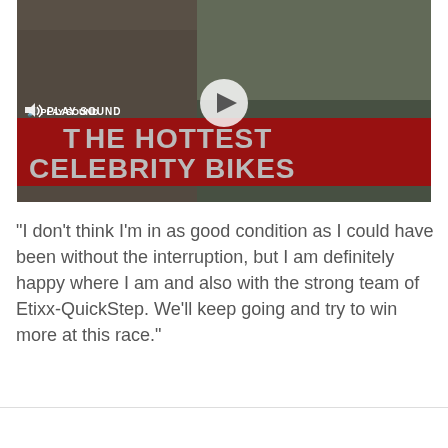[Figure (screenshot): Video thumbnail showing a man with sunglasses near a bicycle with overlaid red banner text reading 'THE HOTTEST CELEBRITY BIKES', a play button in the center, and a sound icon with 'PLAY SOUND' text.]
"I don't think I'm in as good condition as I could have been without the interruption, but I am definitely happy where I am and also with the strong team of Etixx-QuickStep. We'll keep going and try to win more at this race."